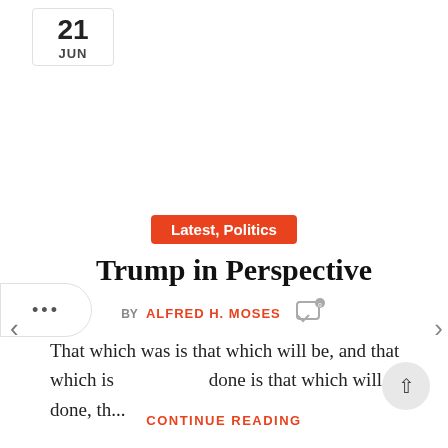21 JUN
...
Latest, Politics
Trump in Perspective
BY ALFRED H. MOSES
That which was is that which will be, and that which is done is that which will be done, th...
CONTINUE READING